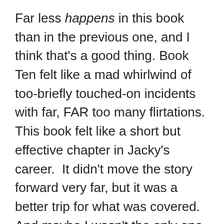Far less happens in this book than in the previous one, and I think that's a good thing. Book Ten felt like a mad whirlwind of too-briefly touched-on incidents with far, FAR too many flirtations.  This book felt like a short but effective chapter in Jacky's career.  It didn't move the story forward very far, but it was a better trip for what was covered.  And maybe I wasn't the only one who felt serious sparking with five men (I counted) in a short book was a bit much in Book Ten–this one toned it down, and while Jacky still has her moments, it was all with old familiar characters instead of an endless parade of